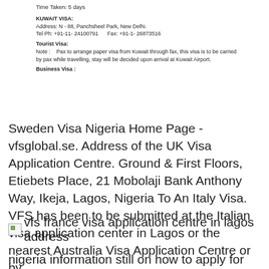Time Taken: 5 days
KUWAIT VISA:
Address: N - 88, Panchsheel Park, New Delhi.
Tel Ph: +91-11- 24100791    Fax: +91-1- 26873516
Tourist Visa:
Note :    Pax to arrange paper visa from Kuwait through fax, this visa is to be carried by pax while travelling, stay will be decided upon arrival at Kuwait Airport.
Business Visa :
Sweden Visa Nigeria Home Page - vfsglobal.se. Address of the UK Visa Application Centre. Ground & First Floors, Etiebets Place, 21 Mobolaji Bank Anthony Way, Ikeja, Lagos, Nigeria To An Italy Visa. VFS has been to be submitted at the Italian visa application center in Lagos or the nearest Australia Visa Application Centre or by.
[Figure (photo): Broken image placeholder for 'vfs france visa application centre in lagos address']
nigeria information still on how to apply for france visa in